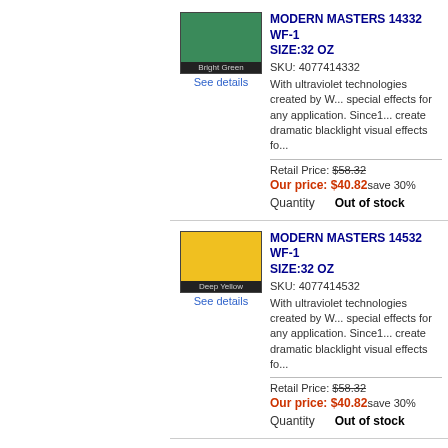[Figure (photo): Green color swatch labeled Bright Green]
See details
MODERN MASTERS 14332 WF-1 SIZE:32 OZ
SKU: 4077414332
With ultraviolet technologies created by W... special effects for any application. Since1... create dramatic blacklight visual effects fo...
Retail Price: $58.32
Our price: $40.82 save 30%
Quantity    Out of stock
[Figure (photo): Yellow color swatch labeled Deep Yellow]
See details
MODERN MASTERS 14532 WF-1 SIZE:32 OZ
SKU: 4077414532
With ultraviolet technologies created by W... special effects for any application. Since1... create dramatic blacklight visual effects fo...
Retail Price: $58.32
Our price: $40.82 save 30%
Quantity    Out of stock
[Figure (photo): Blue color swatch (partially visible)]
MODERN MASTERS 14632 WF-1 OZ